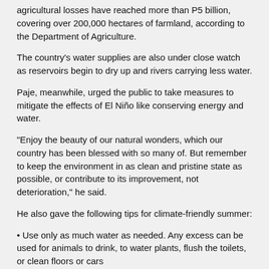agricultural losses have reached more than P5 billion, covering over 200,000 hectares of farmland, according to the Department of Agriculture.
The country's water supplies are also under close watch as reservoirs begin to dry up and rivers carrying less water.
Paje, meanwhile, urged the public to take measures to mitigate the effects of El Niño like conserving energy and water.
“Enjoy the beauty of our natural wonders, which our country has been blessed with so many of. But remember to keep the environment in as clean and pristine state as possible, or contribute to its improvement, not deterioration,” he said.
He also gave the following tips for climate-friendly summer:
• Use only as much water as needed. Any excess can be used for animals to drink, to water plants, flush the toilets, or clean floors or cars
• Use reusable food-grade containers, not disposable plastic, for